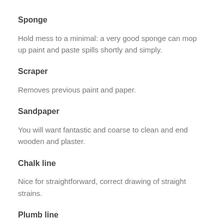Sponge
Hold mess to a minimal: a very good sponge can mop up paint and paste spills shortly and simply.
Scraper
Removes previous paint and paper.
Sandpaper
You will want fantastic and coarse to clean and end wooden and plaster.
Chalk line
Nice for straightforward, correct drawing of straight strains.
Plumb line